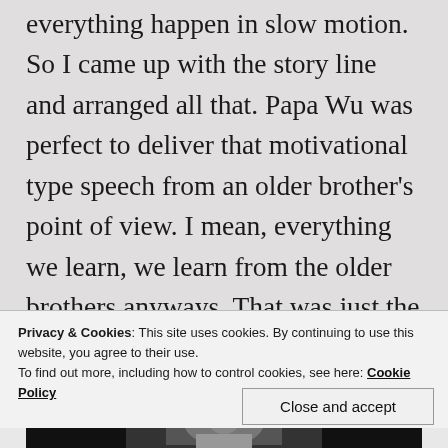everything happen in slow motion. So I came up with the story line and arranged all that. Papa Wu was perfect to deliver that motivational type speech from an older brother's point of view. I mean, everything we learn, we learn from the older brothers anyways. That was just the kind of vibe and message I was trying to get at in order to end the album. Having ODB on it and hearing it now just makes me sad, but in a way it's the perfect way to end the album.
Privacy & Cookies: This site uses cookies. By continuing to use this website, you agree to their use.
To find out more, including how to control cookies, see here: Cookie Policy
Close and accept
[Figure (photo): Black and white photo strip at bottom of page, partially visible]